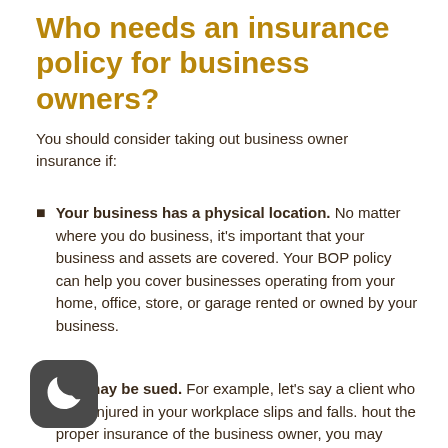Who needs an insurance policy for business owners?
You should consider taking out business owner insurance if:
Your business has a physical location. No matter where you do business, it's important that your business and assets are covered. Your BOP policy can help you cover businesses operating from your home, office, store, or garage rented or owned by your business.
You may be sued. For example, let's say a client who been injured in your workplace slips and falls. hout the proper insurance of the business owner, you may have to pay a significant fee to cover the